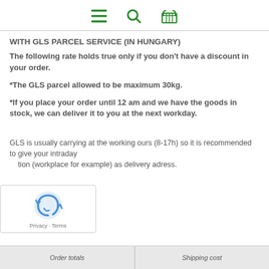Navigation icons: menu, search, basket
WITH GLS PARCEL SERVICE (IN HUNGARY)
The following rate holds true only if you don't have a discount in your order.
*The GLS parcel allowed to be maximum 30kg.
*If you place your order until 12 am and we have the goods in stock, we can deliver it to you at the next workday.
GLS is usually carrying at the working ours (8-17h) so it is recommended to give your intraday location (workplace for example) as delivery adress.
Order totals | Shipping cost